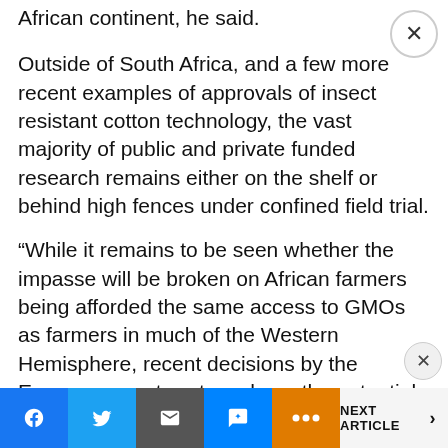African continent, he said.
Outside of South Africa, and a few more recent examples of approvals of insect resistant cotton technology, the vast majority of public and private funded research remains either on the shelf or behind high fences under confined field trial.
“While it remains to be seen whether the impasse will be broken on African farmers being afforded the same access to GMOs as farmers in much of the Western Hemisphere, recent decisions by the European court systems have the potential to similarly negatively impact gene editing technology
NEXT ARTICLE >